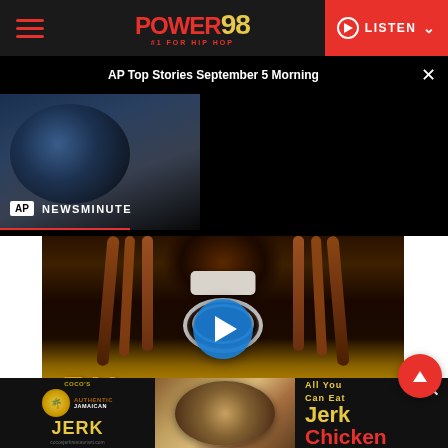Power 98 - #1 For Hip Hop | LISTEN
[Figure (screenshot): AP Newsminute video overlay showing globe image with AP badge and NEWSMINUTE text. Title reads: AP Top Stories September 5 Morning]
[Figure (photo): Photo of a hip-hop artist with long dreadlocks, white face mask, silver chain necklace, wearing a black and yellow outfit. Blue play button overlay in center.]
[Figure (screenshot): Banner advertisement for Coco's Authentic Jamaican Jerk - All You Can Eat Jerk Chicken, with food photo and logo]